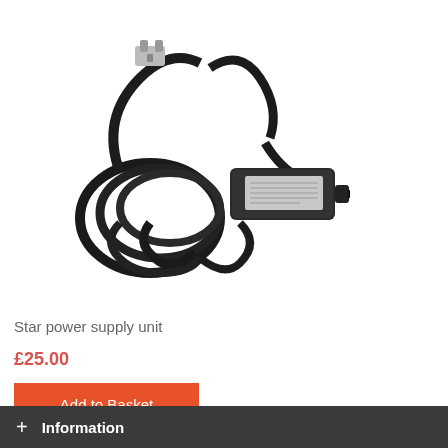[Figure (photo): A black power supply unit (AC adapter/brick) with attached power cable coiled around it, featuring a UK plug on one end and a connector on the other end. The adapter has a label on top.]
Star power supply unit
£25.00
Add to Basket
+ Information